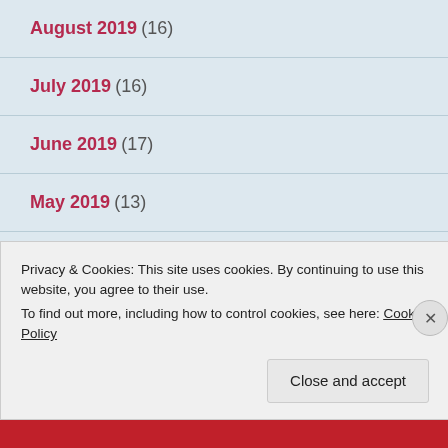August 2019 (16)
July 2019 (16)
June 2019 (17)
May 2019 (13)
April 2019 (19)
March 2019 (13)
Privacy & Cookies: This site uses cookies. By continuing to use this website, you agree to their use.
To find out more, including how to control cookies, see here: Cookie Policy
Close and accept